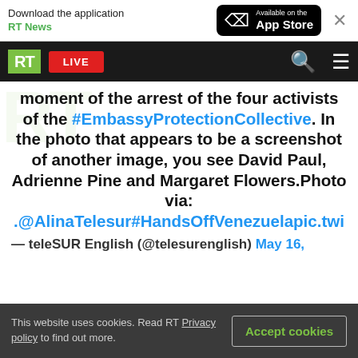[Figure (screenshot): App download banner with RT News App Store button and close X button]
[Figure (screenshot): RT website navigation bar with green RT logo, red LIVE button, search and menu icons]
moment of the arrest of the four activists of the #EmbassyProtectionCollective. In the photo that appears to be a screenshot of another image, you see David Paul, Adrienne Pine and Margaret Flowers.Photo via: .@AlinaTelesur#HandsOffVenezuelapic.twi
— teleSUR English (@telesurenglish) May 16,
This website uses cookies. Read RT Privacy policy to find out more.